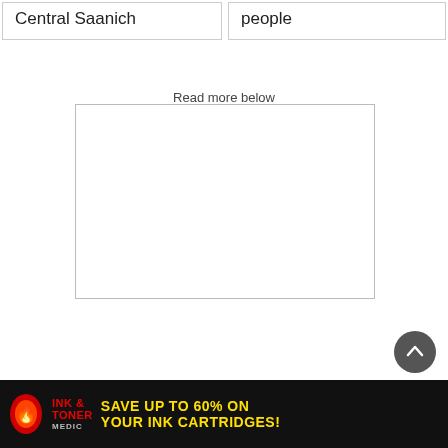Central Saanich
people
Read more below
[Figure (other): Empty white box placeholder for ad or image content]
[Figure (other): Ink & Toner Medic banner advertisement: SAVE UP TO 60% ON YOUR INK CARTRIDGES!]